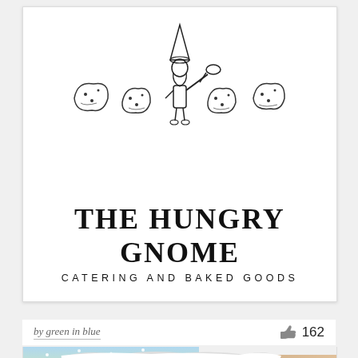[Figure (logo): The Hungry Gnome catering and baked goods logo featuring a gnome holding a large spoon surrounded by baked goods/scones illustrations]
THE HUNGRY GNOME
CATERING AND BAKED GOODS
by green in blue
162
[Figure (illustration): Colorful illustration of a building in winter/snow with text NO EXCUSES visible]